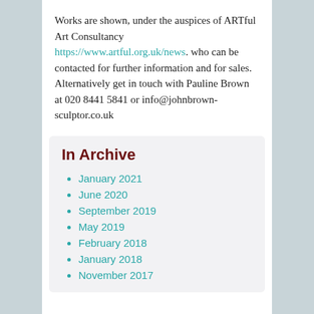Works are shown, under the auspices of ARTful Art Consultancy https://www.artful.org.uk/news. who can be contacted for further information and for sales. Alternatively get in touch with Pauline Brown at 020 8441 5841 or info@johnbrown-sculptor.co.uk
In Archive
January 2021
June 2020
September 2019
May 2019
February 2018
January 2018
November 2017